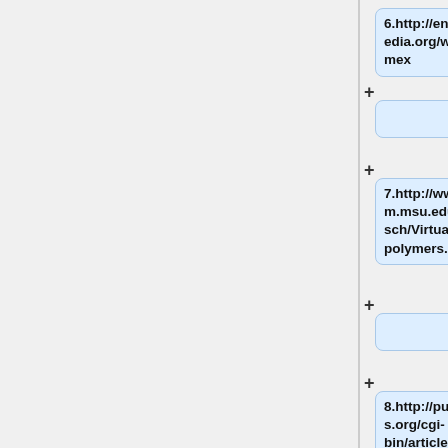6.http://en.wikipedia.org/wiki/Nomex
7.http://www.cem.msu.edu/~reusch/VirtualText/polymers.htm
8.http://pubs.acs.org/cgi-bin/article.cgi/jpcbfk/2007/111/i20/pdf/jp070586c.pdf
9.Handbook of Fiber Science